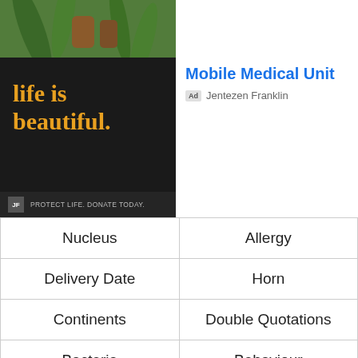[Figure (photo): Partial view of green plant leaves with amber/brown bottles on a wooden surface]
[Figure (photo): Dark background advertisement image with orange text 'life is beautiful.' and footer 'JF PROTECT LIFE. DONATE TODAY.']
Mobile Medical Unit
Ad  Jentezen Franklin
| Nucleus | Allergy |
| Delivery Date | Horn |
| Continents | Double Quotations |
| Bacteria | Behaviour |
| River | Digital Currencies |
[Figure (screenshot): Bottom advertisement partial view with play and close icons, text 'Log & Timber Worx']